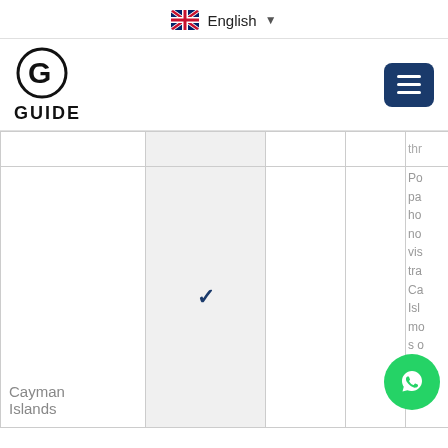English
[Figure (logo): GUIDE website logo with circular G icon and text GUIDE]
[Figure (screenshot): Hamburger menu button (three horizontal lines) on dark blue background]
|  |  |  |  | (truncated) |
| --- | --- | --- | --- | --- |
| Cayman Islands | ✓ |  |  | Por pa: hol no' vis tra Ca Isl mo 's c on pro |
[Figure (other): WhatsApp contact button (green circle with phone icon)]